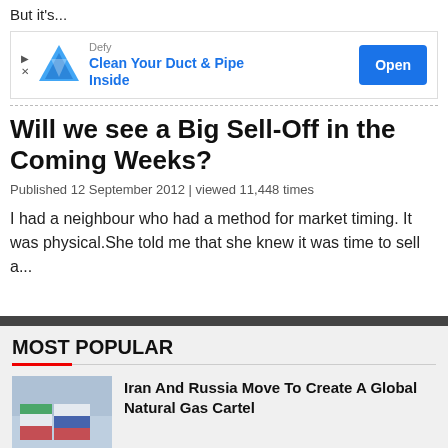But it's...
[Figure (screenshot): Advertisement banner for 'Defy' product - Clean Your Duct & Pipe Inside, with Open button]
Will we see a Big Sell-Off in the Coming Weeks?
Published 12 September 2012 | viewed 11,448 times
I had a neighbour who had a method for market timing. It was physical.She told me that she knew it was time to sell a...
MOST POPULAR
Iran And Russia Move To Create A Global Natural Gas Cartel